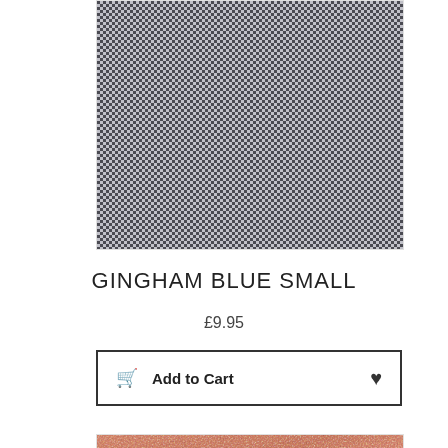[Figure (photo): Close-up of blue and white small gingham check fabric pattern]
GINGHAM BLUE SMALL
£9.95
Add to Cart
[Figure (photo): Close-up of salmon/pink textured fabric]